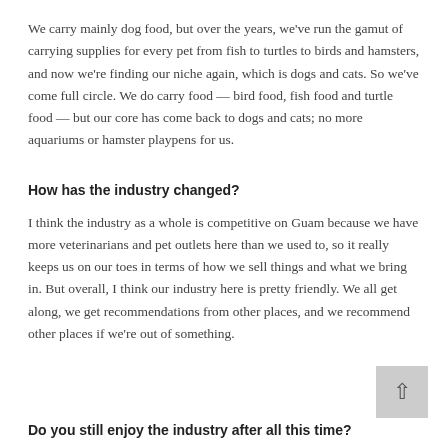We carry mainly dog food, but over the years, we've run the gamut of carrying supplies for every pet from fish to turtles to birds and hamsters, and now we're finding our niche again, which is dogs and cats. So we've come full circle. We do carry food — bird food, fish food and turtle food — but our core has come back to dogs and cats; no more aquariums or hamster playpens for us.
How has the industry changed?
I think the industry as a whole is competitive on Guam because we have more veterinarians and pet outlets here than we used to, so it really keeps us on our toes in terms of how we sell things and what we bring in. But overall, I think our industry here is pretty friendly. We all get along, we get recommendations from other places, and we recommend other places if we're out of something.
Do you still enjoy the industry after all this time?